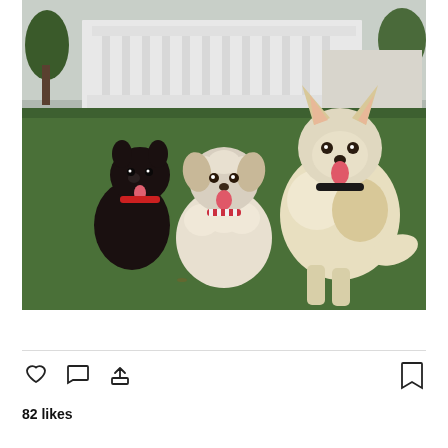[Figure (photo): Three dogs sitting on grass in front of a white government building (US Capitol). Left: small black Pomeranian with red collar. Center: fluffy white dog with striped bow tie collar. Right: large white and tan dog with black collar.]
View more on Instagram
82 likes